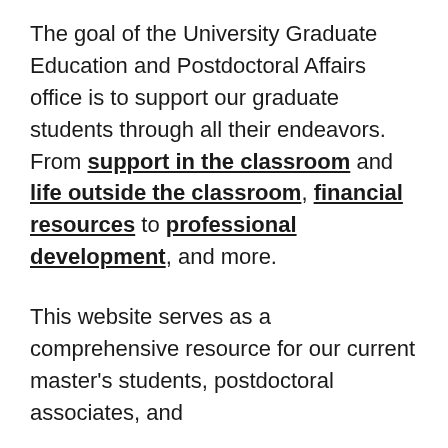The goal of the University Graduate Education and Postdoctoral Affairs office is to support our graduate students through all their endeavors. From support in the classroom and life outside the classroom, financial resources to professional development, and more.
This website serves as a comprehensive resource for our current master's students, postdoctoral associates, and